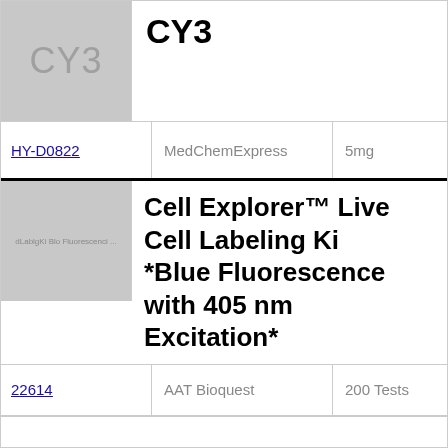[Figure (other): Gray placeholder cell with 'CY3' text label]
CY3
| ID | Vendor | Size |
| --- | --- | --- |
| HY-D0822 | MedChemExpress | 5mg |
[Figure (other): Gray placeholder cell with small text: dLablgKi Blo Fluorescenci...]
Cell Explorer™ Live Cell Labeling Ki *Blue Fluorescence with 405 nm Excitation*
| ID | Vendor | Size |
| --- | --- | --- |
| 22614 | AAT Bioquest | 200 Tests |